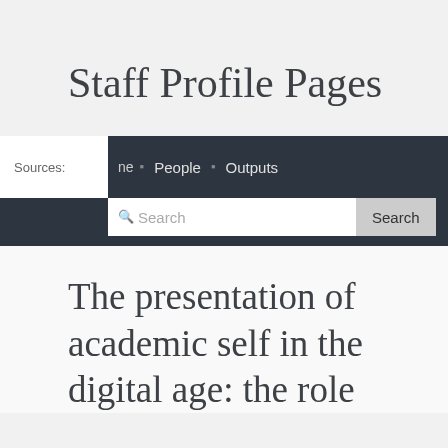Staff Profile Pages
Sources: ne  People  Outputs  Search
The presentation of academic self in the digital age: the role